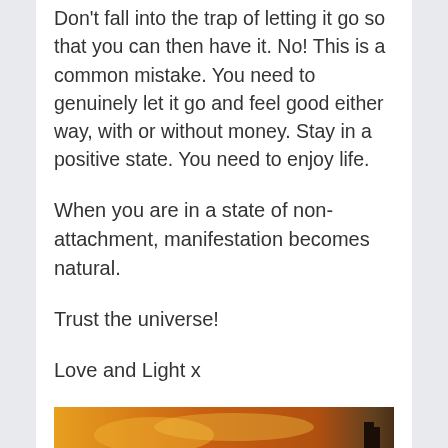Don't fall into the trap of letting it go so that you can then have it. No! This is a common mistake. You need to genuinely let it go and feel good either way, with or without money. Stay in a positive state. You need to enjoy life.
When you are in a state of non-attachment, manifestation becomes natural.
Trust the universe!
Love and Light x
[Figure (photo): Sunset sky with orange and golden clouds, silhouette of trees on right]
[Figure (infographic): Advertisement banner for Electrical & Electronic Device from www.kenner.com.tw with a Contact Us button]